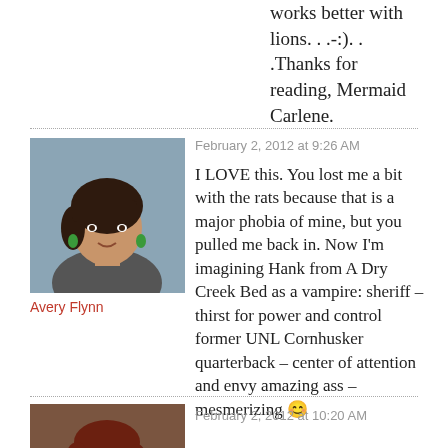works better with lions. . .-:). . .Thanks for reading, Mermaid Carlene.
February 2, 2012 at 9:26 AM
[Figure (photo): Avatar photo of Avery Flynn, woman with short dark hair and green earrings]
Avery Flynn
I LOVE this. You lost me a bit with the rats because that is a major phobia of mine, but you pulled me back in. Now I’m imagining Hank from A Dry Creek Bed as a vampire: sheriff – thirst for power and control former UNL Cornhusker quarterback – center of attention and envy amazing ass – mesmerizing 😊
February 2, 2012 at 10:20 AM
[Figure (photo): Avatar photo of a woman with reddish-brown hair]